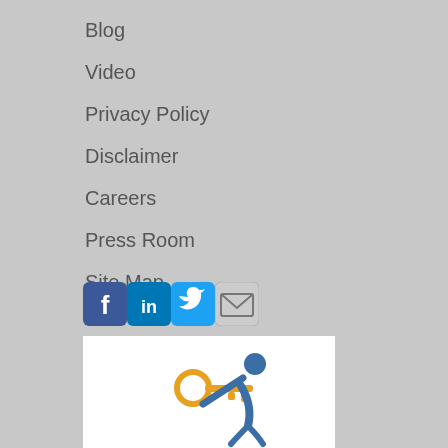Blog
Video
Privacy Policy
Disclaimer
Careers
Press Room
Site Map
[Figure (infographic): Social media icons: Facebook, LinkedIn, Twitter, Email/envelope icon]
[Figure (logo): Company logo showing a stylized person handing a key, in blue and gold/orange colors]